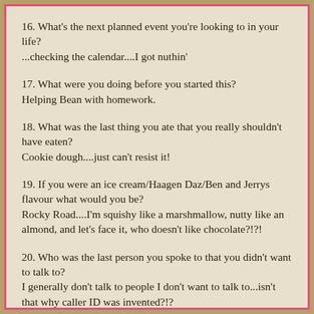16. What's the next planned event you're looking to in your life?
...checking the calendar....I got nuthin'
17. What were you doing before you started this?
Helping Bean with homework.
18. What was the last thing you ate that you really shouldn't have eaten?
Cookie dough....just can't resist it!
19. If you were an ice cream/Haagen Daz/Ben and Jerrys flavour what would you be?
Rocky Road....I'm squishy like a marshmallow, nutty like an almond, and let's face it, who doesn't like chocolate?!?!
20. Who was the last person you spoke to that you didn't want to talk to?
I generally don't talk to people I don't want to talk to...isn't that why caller ID was invented?!?